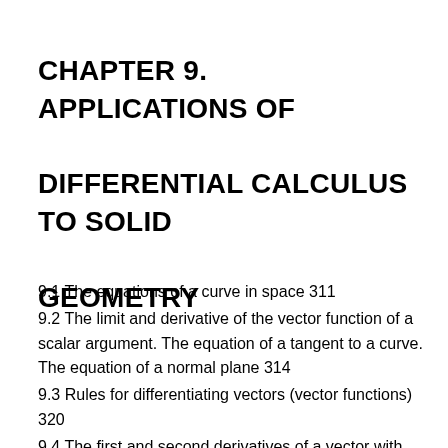CHAPTER 9. APPLICATIONS OF DIFFERENTIAL CALCULUS TO SOLID GEOMETRY
9.1 The equations of a curve in space 311
9.2 The limit and derivative of the vector function of a scalar argument. The equation of a tangent to a curve. The equation of a normal plane 314
9.3 Rules for differentiating vectors (vector functions) 320
9.4 The first and second derivatives of a vector with